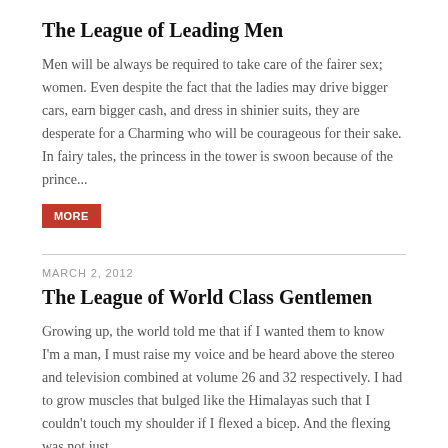The League of Leading Men
Men will be always be required to take care of the fairer sex; women. Even despite the fact that the ladies may drive bigger cars, earn bigger cash, and dress in shinier suits, they are desperate for a Charming who will be courageous for their sake. In fairy tales, the princess in the tower is swoon because of the prince...
MORE
MARCH 2, 2012
The League of World Class Gentlemen
Growing up, the world told me that if I wanted them to know I'm a man, I must raise my voice and be heard above the stereo and television combined at volume 26 and 32 respectively. I had to grow muscles that bulged like the Himalayas such that I couldn't touch my shoulder if I flexed a bicep. And the flexing was not just...